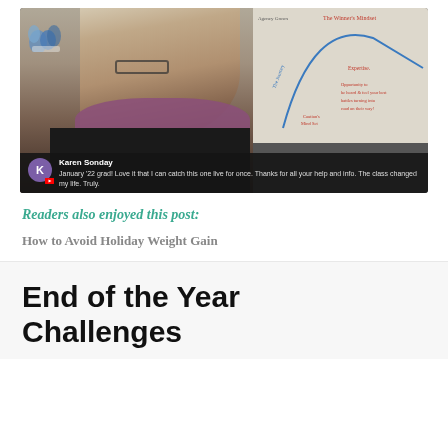[Figure (screenshot): Video thumbnail showing a woman with grey hair and glasses wearing a purple scarf, seated in front of a whiteboard with handwritten notes. A YouTube comment overlay at the bottom shows a comment from Karen Sonday reading: 'January '22 grad! Love it that I can catch this one live for once. Thanks for all your help and info. The class changed my life. Truly.']
Readers also enjoyed this post:
How to Avoid Holiday Weight Gain
End of the Year Challenges